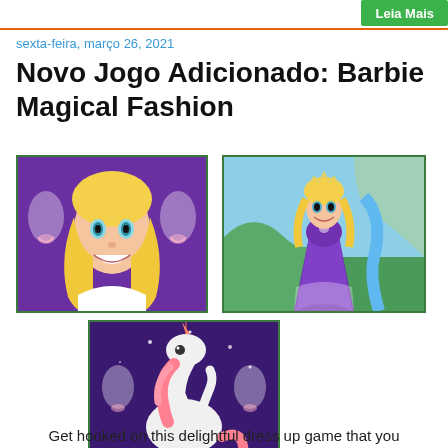Leia Mais
sexta-feira, março 26, 2021
Novo Jogo Adicionado: Barbie Magical Fashion
[Figure (illustration): Barbie character face close-up with blonde hair on purple background with crystal candelabras]
[Figure (illustration): Barbie as a princess in purple gown with tiara in a fantasy landscape]
[Figure (illustration): White unicorn with pink mane rearing up on purple background with crystal candelabras]
Get hooked on this delightful dress up game that you